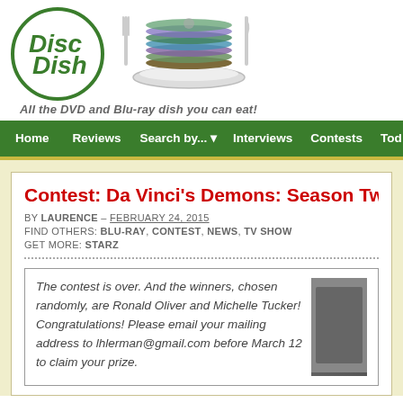[Figure (logo): Disc Dish logo - green circle with 'Disc Dish' text in green, and a stack of DVDs/Blu-rays on a plate with fork and knife]
All the DVD and Blu-ray dish you can eat!
Home | Reviews | Search by... | Interviews | Contests | Tod...
Contest: Da Vinci's Demons: Season Two
BY LAURENCE – FEBRUARY 24, 2015
FIND OTHERS: BLU-RAY, CONTEST, NEWS, TV SHOW
GET MORE: STARZ
The contest is over. And the winners, chosen randomly, are Ronald Oliver and Michelle Tucker! Congratulations! Please email your mailing address to lhlerman@gmail.com before March 12 to claim your prize.